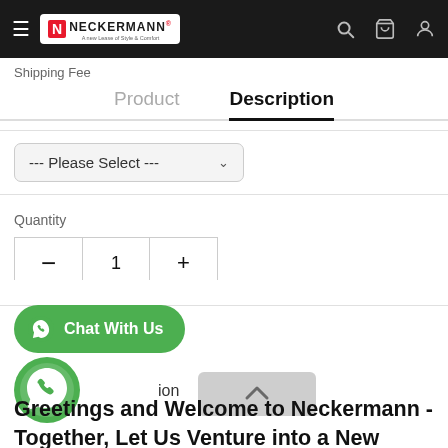Neckermann navigation bar with logo, search, cart, account icons
Shipping Fee
Description
--- Please Select ---
Quantity 1
[Figure (screenshot): Chat With Us WhatsApp button (green rounded)]
[Figure (logo): WhatsApp floating bubble icon (green circle with phone icon)]
Description
Greetings and Welcome to Neckermann - Together, Let Us Venture into a New Leap of Style and Comfort! Your Satisfaction and